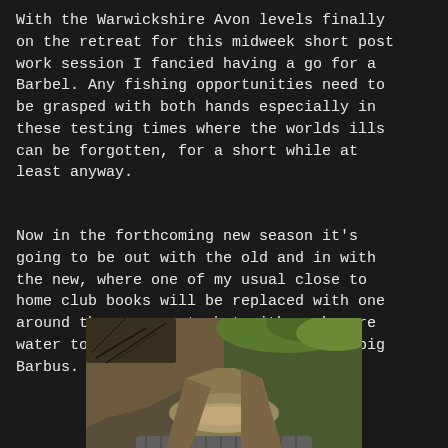With the Warwickshire Avon levels finally on the retreat for this midweak short post work session I fancied having a go for a Barbel. Any fishing opportunities need to be grasped with both hands especially in these testing times where the worlds ills can be forgotten, for a short while at least anyway.
Now in the forthcoming new season it's going to be out with the old and in with the new, where one of my usual close to home club books will be replaced with one around the same cost, but with much more water to fish, and also a chance of a big Barbus.
[Figure (photo): Photo of a narrow muddy river or stream with brown water, steep earthen banks with vegetation and bare branches, and a corrugated drainage pipe visible at the bottom.]